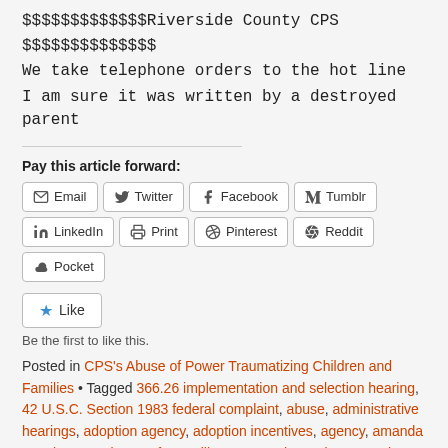$$$$$$$$$$$$$Riverside County CPS
$$$$$$$$$$$$$$
We take telephone orders to the hot line
I am sure it was written by a destroyed parent
Pay this article forward:
Email | Twitter | Facebook | Tumblr | LinkedIn | Print | Pinterest | Reddit | Pocket
★ Like
Be the first to like this.
Posted in CPS's Abuse of Power Traumatizing Children and Families • Tagged 366.26 implementation and selection hearing, 42 U.S.C. Section 1983 federal complaint, abuse, administrative hearings, adoption agency, adoption incentives, agency, amanda spratley, American Safe Families Act, Antoine Coley, appeal, appealable issues, ASFA, Beth